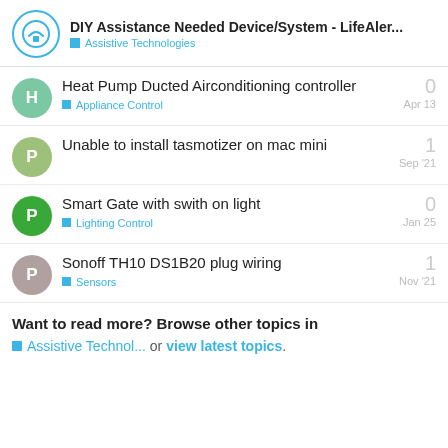DIY Assistance Needed Device/System - LifeAler... | Assistive Technologies
Heat Pump Ducted Airconditioning controller | Appliance Control | 0 replies | Apr 13
Unable to install tasmotizer on mac mini | 1 reply | Sep '21
Smart Gate with swith on light | Lighting Control | 0 replies | Jan 25
Sonoff TH10 DS1B20 plug wiring | Sensors | 1 reply | Nov '21
Want to read more? Browse other topics in Assistive Technol... or view latest topics.